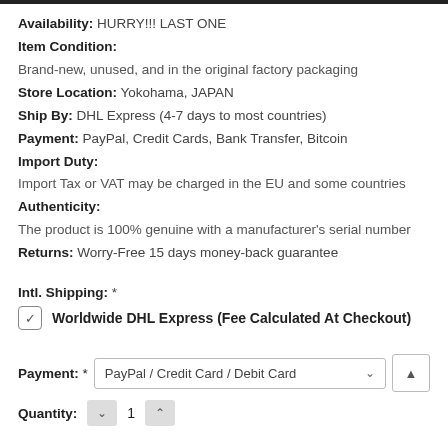Availability: HURRY!!! LAST ONE
Item Condition:
Brand-new, unused, and in the original factory packaging
Store Location: Yokohama, JAPAN
Ship By: DHL Express (4-7 days to most countries)
Payment: PayPal, Credit Cards, Bank Transfer, Bitcoin
Import Duty:
Import Tax or VAT may be charged in the EU and some countries
Authenticity:
The product is 100% genuine with a manufacturer's serial number
Returns: Worry-Free 15 days money-back guarantee
Intl. Shipping: *
Worldwide DHL Express (Fee Calculated At Checkout)
Payment: * PayPal / Credit Card / Debit Card
Quantity: 1